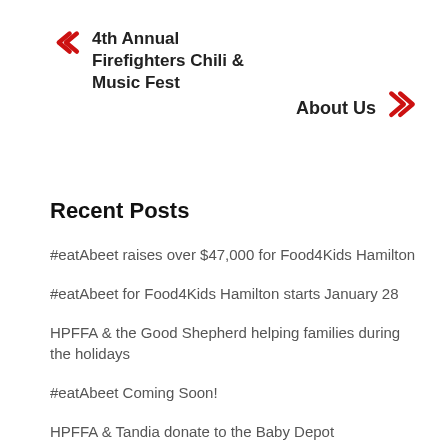« 4th Annual Firefighters Chili & Music Fest
About Us »
Recent Posts
#eatAbeet raises over $47,000 for Food4Kids Hamilton
#eatAbeet for Food4Kids Hamilton starts January 28
HPFFA & the Good Shepherd helping families during the holidays
#eatAbeet Coming Soon!
HPFFA & Tandia donate to the Baby Depot